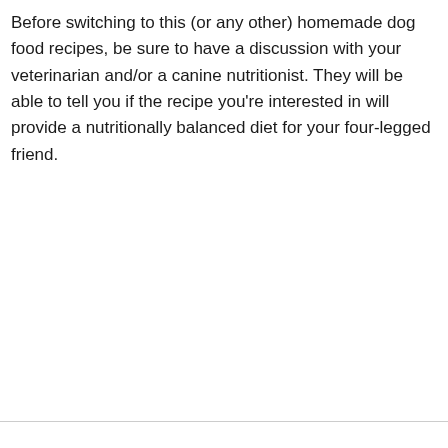Before switching to this (or any other) homemade dog food recipes, be sure to have a discussion with your veterinarian and/or a canine nutritionist. They will be able to tell you if the recipe you're interested in will provide a nutritionally balanced diet for your four-legged friend.